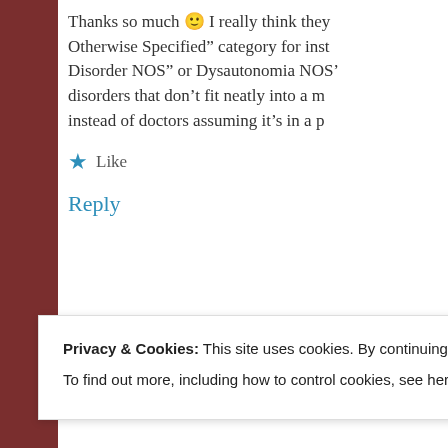Thanks so much 🙂 I really think they Otherwise Specified" category for inst Disorder NOS" or Dysautonomia NOS' disorders that don't fit neatly into a m instead of doctors assuming it's in a p
★ Like
Reply
Privacy & Cookies: This site uses cookies. By continuing to use this website, you agree to their use.
To find out more, including how to control cookies, see here: Cookie Policy
Close and accept